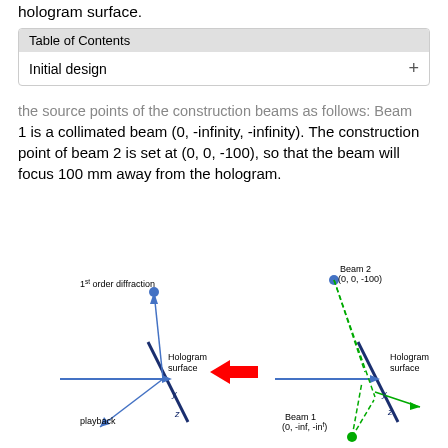hologram surface.
Table of Contents
Initial design
the source points of the construction beams as follows: Beam 1 is a collimated beam (0, -infinity, -infinity). The construction point of beam 2 is set at (0, 0, -100), so that the beam will focus 100 mm away from the hologram.
[Figure (engineering-diagram): Two-panel engineering diagram showing hologram design. Left panel: shows 1st order diffraction with a blue dot labeled '1st order diffraction', rays going to/from a hologram surface, with labels 'playback' and axis labels y and z. Right panel: shows Beam 2 at (0,0,-100) as a blue dot at top with green dashed rays, and Beam 1 at (0,-inf,-inf) as a green dot at bottom, both interacting with a hologram surface, with axis labels y and z. A red arrow points from left panel to right panel.]